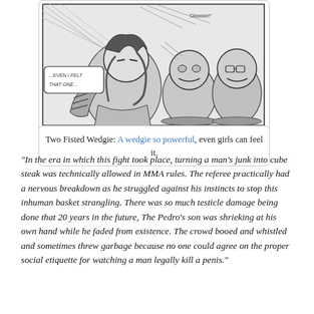[Figure (illustration): Black and white manga panel showing a female character with an angry expression and two ogre-like creatures cringing in pain. Speech bubble reads '...EVEN I FELT THAT ONE...' and 'Oooooo!!' in the background.]
Two Fisted Wedgie: A wedgie so powerful, even girls can feel it.
"In the era in which this fight took place, turning a man's junk into cube steak was technically allowed in MMA rules. The referee practically had a nervous breakdown as he struggled against his instincts to stop this inhuman basket strangling. There was so much testicle damage being done that 20 years in the future, The Pedro's son was shrieking at his own hand while he faded from existence. The crowd booed and whistled and sometimes threw garbage because no one could agree on the proper social etiquette for watching a man legally kill a penis."